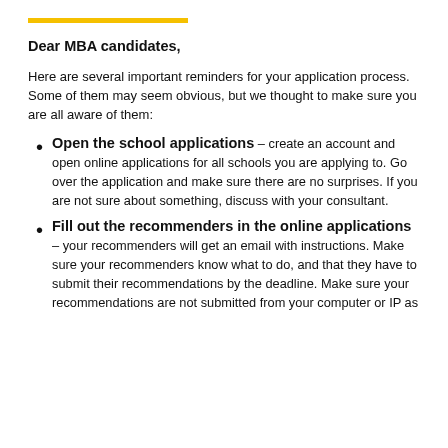Dear MBA candidates,
Here are several important reminders for your application process. Some of them may seem obvious, but we thought to make sure you are all aware of them:
Open the school applications – create an account and open online applications for all schools you are applying to. Go over the application and make sure there are no surprises. If you are not sure about something, discuss with your consultant.
Fill out the recommenders in the online applications – your recommenders will get an email with instructions. Make sure your recommenders know what to do, and that they have to submit their recommendations by the deadline. Make sure your recommendations are not submitted from your computer or IP as...